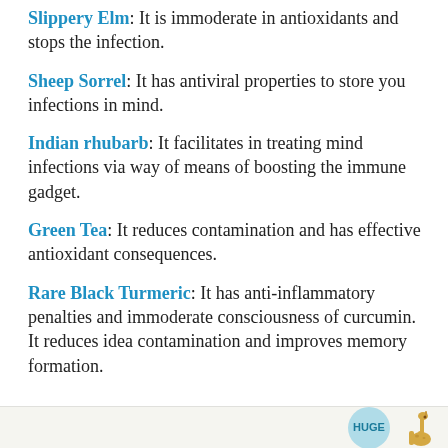Slippery Elm: It is immoderate in antioxidants and stops the infection.
Sheep Sorrel: It has antiviral properties to store you infections in mind.
Indian rhubarb: It facilitates in treating mind infections via way of means of boosting the immune gadget.
Green Tea: It reduces contamination and has effective antioxidant consequences.
Rare Black Turmeric: It has anti-inflammatory penalties and immoderate consciousness of curcumin. It reduces idea contamination and improves memory formation.
[Figure (other): Bottom banner with a 'HUGE' badge circle and a small giraffe illustration on the right side]